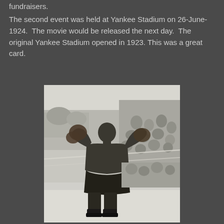fundraisers.
The second event was held at Yankee Stadium on 26-June-1924.  The movie would be released the next day.  The original Yankee Stadium opened in 1923. This was a great card.
[Figure (photo): Black and white photograph of a boxer in fighting stance in a boxing ring, with a large crowd visible in the background. The boxer is shirtless, wearing dark shorts and boxing gloves, standing in a guard position.]